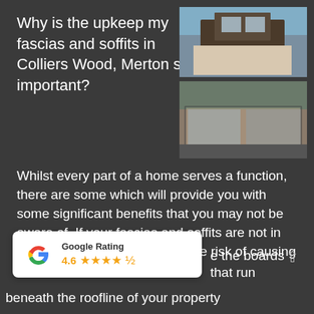Why is the upkeep my fascias and soffits in Colliers Wood, Merton so important?
[Figure (photo): Two photos of residential/commercial buildings: top photo shows a house with dormer windows and dark cladding under blue sky; bottom photo shows a commercial building storefront with large glass windows.]
Whilst every part of a home serves a function, there are some which will provide you with some significant benefits that you may not be aware of. If your fascias and soffits are not in good condition, then you run the risk of causing serious damage to your home.
[Figure (infographic): Google Rating badge showing 4.6 stars (4 full stars and 1 half star) with the Google 'G' logo]
e the boards that run beneath the roofline of your property